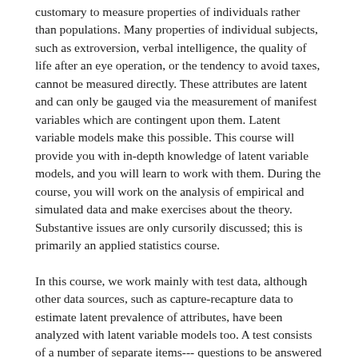customary to measure properties of individuals rather than populations. Many properties of individual subjects, such as extroversion, verbal intelligence, the quality of life after an eye operation, or the tendency to avoid taxes, cannot be measured directly. These attributes are latent and can only be gauged via the measurement of manifest variables which are contingent upon them. Latent variable models make this possible. This course will provide you with in-depth knowledge of latent variable models, and you will learn to work with them. During the course, you will work on the analysis of empirical and simulated data and make exercises about the theory. Substantive issues are only cursorily discussed; this is primarily an applied statistics course.
In this course, we work mainly with test data, although other data sources, such as capture-recapture data to estimate latent prevalence of attributes, have been analyzed with latent variable models too. A test consists of a number of separate items--- questions to be answered or problems to be solved. The responses to these items are used to obtain a score that approximates the subject's level on a latent variable.